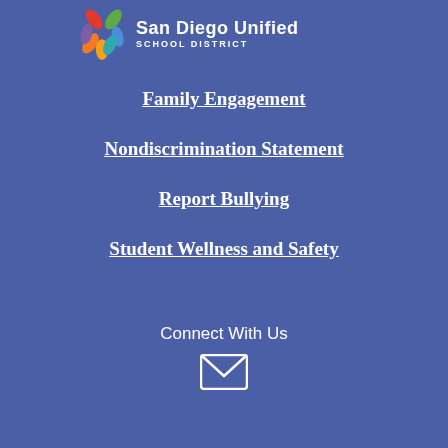[Figure (logo): San Diego Unified School District logo with colorful star and text]
Family Engagement
Nondiscrimination Statement
Report Bullying
Student Wellness and Safety
Connect With Us
[Figure (illustration): White envelope/email icon]